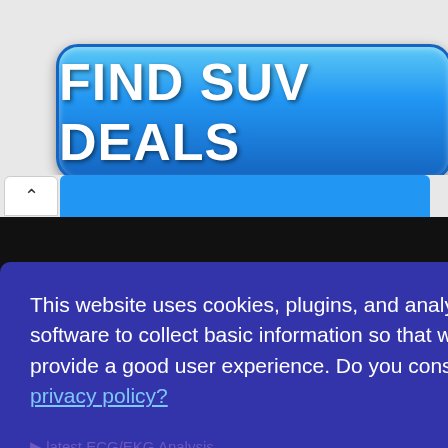[Figure (screenshot): Blue button with white bold text reading FIND SUV DEALS on a light grey background]
This website uses cookies, plugins, and analytics software to collect basic information so that we can provide a good user experience. Do you consent to our privacy policy?
I Consent!